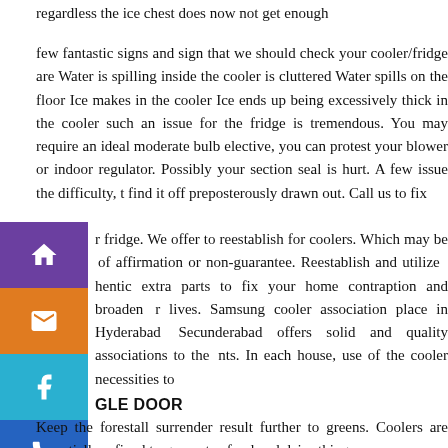regardless the ice chest does now not get enough
few fantastic signs and sign that we should check your cooler/fridge are Water is spilling inside the cooler is cluttered Water spills on the floor Ice makes in the cooler Ice ends up being excessively thick in the cooler such an issue for the fridge is tremendous. You may require an ideal moderate bulb elective, you can protest your blower or indoor regulator. Possibly your section seal is hurt. A few issue the difficulty, t find it off preposterously drawn out. Call us to fix
r fridge. We offer to reestablish for coolers. Which may be of affirmation or non-guarantee. Reestablish and utilize hentic extra parts to fix your home contraption and broaden r lives. Samsung cooler association place in Hyderabad Secunderabad offers solid and quality associations to the nts. In each house, use of the cooler necessities to
GLE DOOR
Keep the forestall surrender result further to greens. Coolers are essentially refined to guarantee food and dairy things.